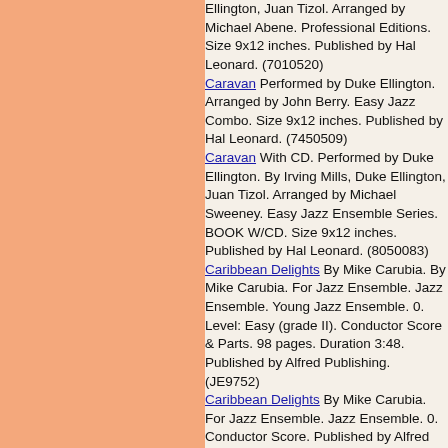Ellington, Juan Tizol. Arranged by Michael Abene. Professional Editions. Size 9x12 inches. Published by Hal Leonard. (7010520)
Caravan Performed by Duke Ellington. Arranged by John Berry. Easy Jazz Combo. Size 9x12 inches. Published by Hal Leonard. (7450509)
Caravan With CD. Performed by Duke Ellington. By Irving Mills, Duke Ellington, Juan Tizol. Arranged by Michael Sweeney. Easy Jazz Ensemble Series. BOOK W/CD. Size 9x12 inches. Published by Hal Leonard. (8050083)
Caribbean Delights By Mike Carubia. By Mike Carubia. For Jazz Ensemble. Jazz Ensemble. Young Jazz Ensemble. 0. Level: Easy (grade II). Conductor Score & Parts. 98 pages. Duration 3:48. Published by Alfred Publishing. (JE9752)
Caribbean Delights By Mike Carubia. For Jazz Ensemble. Jazz Ensemble. 0. Conductor Score. Published by Alfred Publishing. (JE9752C)
Caribbean Fever By Victor Lopez. Edited by Pete Barenbregge.